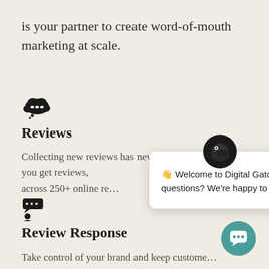is your partner to create word-of-mouth marketing at scale.
[Figure (illustration): Thought bubble / speech cloud icon in black]
Reviews
Collecting new reviews has never been easier. We help you get reviews, across 250+ online re…
[Figure (illustration): Person with speech bubbles icon in black]
Review Response
Take control of your brand and keep customers engaged. As an optional added service, we'll
[Figure (screenshot): Chat widget popup with mascot logo icon and message: '👋 Welcome to Digital Gator! Got any questions? We're happy to help.' with close X button, and a teal circular chat trigger button in the bottom right corner.]